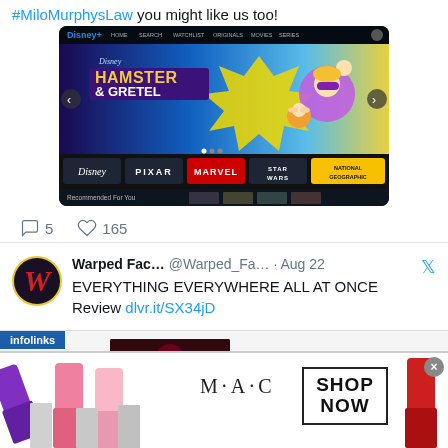#MiloMurphysLaw you might like us too!
[Figure (screenshot): Screenshot of Disney+ homepage showing Hamster & Gretel hero banner with Disney, Pixar, Marvel, Star Wars, National Geographic brand tabs and Recommended For You section]
5 comment icon  165 heart icon
Warped Fac... @Warped_Fa... · Aug 22
EVERYTHING EVERYWHERE ALL AT ONCE Review dlvr.it/SX34jD
[Figure (screenshot): Partial infolinks ad banner with red/dark movie image]
[Figure (photo): MAC Cosmetics advertisement showing lipsticks with SHOP NOW button]